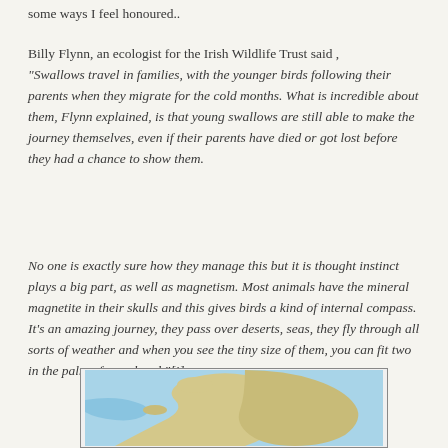some ways I feel honoured..
Billy Flynn, an ecologist for the Irish Wildlife Trust said , “Swallows travel in families, with the younger birds following their parents when they migrate for the cold months. What is incredible about them, Flynn explained, is that young swallows are still able to make the journey themselves, even if their parents have died or got lost before they had a chance to show them.
No one is exactly sure how they manage this but it is thought instinct plays a big part, as well as magnetism. Most animals have the mineral magnetite in their skulls and this gives birds a kind of internal compass. It’s an amazing journey, they pass over deserts, seas, they fly through all sorts of weather and when you see the tiny size of them, you can fit two in the palm of your hand.”[i]
[Figure (map): A partial view of a globe/map illustration showing landmasses and ocean in blue and beige tones, framed with a border.]